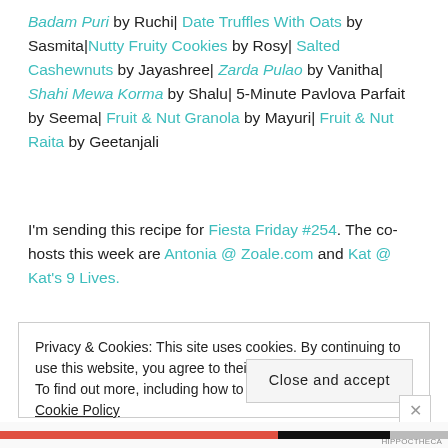Badam Puri by Ruchi| Date Truffles With Oats by Sasmita|Nutty Fruity Cookies by Rosy| Salted Cashewnuts by Jayashree| Zarda Pulao by Vanitha| Shahi Mewa Korma by Shalu| 5-Minute Pavlova Parfait by Seema| Fruit & Nut Granola by Mayuri| Fruit & Nut Raita by Geetanjali
I'm sending this recipe for Fiesta Friday #254. The co-hosts this week are Antonia @ Zoale.com and Kat @ Kat's 9 Lives.
Privacy & Cookies: This site uses cookies. By continuing to use this website, you agree to their use.
To find out more, including how to control cookies, see here: Cookie Policy